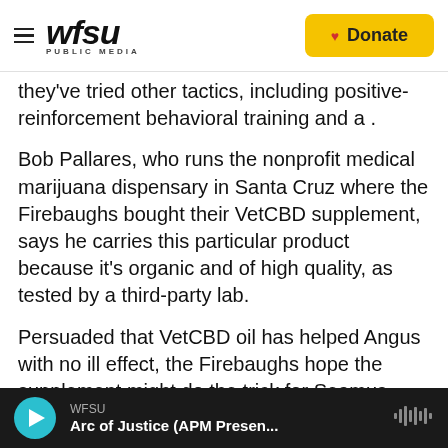WFSU PUBLIC MEDIA | Donate
they've tried other tactics, including positive-reinforcement behavioral training and a .
Bob Pallares, who runs the nonprofit medical marijuana dispensary in Santa Cruz where the Firebaughs bought their VetCBD supplement, says he carries this particular product because it's organic and of high quality, as tested by a third-party lab.
Persuaded that VetCBD oil has helped Angus with no ill effect, the Firebaughs hope the supplement might do the trick for Seamus tonight, too. When the firecracker fracas starts this evening, they'll
WFSU | Arc of Justice (APM Presen...